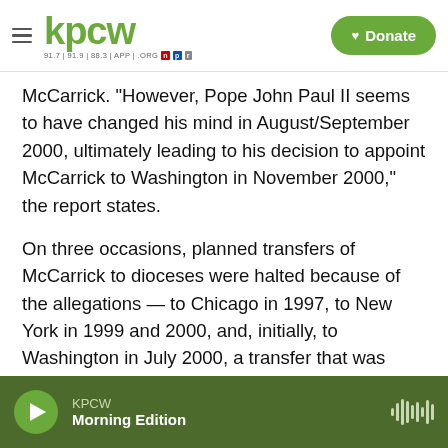KPCW — 91.7 | 91.9 | 88.3 | APP | .ORG — Donate
McCarrick. "However, Pope John Paul II seems to have changed his mind in August/September 2000, ultimately leading to his decision to appoint McCarrick to Washington in November 2000," the report states.
On three occasions, planned transfers of McCarrick to dioceses were halted because of the allegations — to Chicago in 1997, to New York in 1999 and 2000, and, initially, to Washington in July 2000, a transfer that was later approved.
The report concludes that at the time of
KPCW — Morning Edition